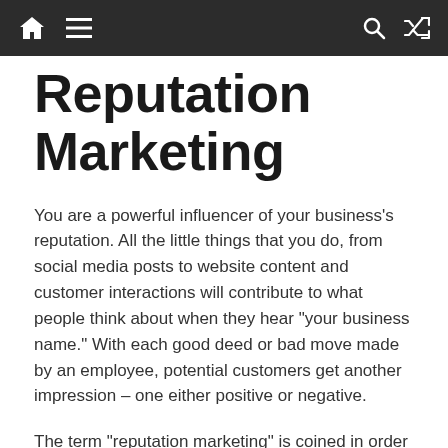Navigation bar with home, menu, search, and shuffle icons
Reputation Marketing
You are a powerful influencer of your business’s reputation. All the little things that you do, from social media posts to website content and customer interactions will contribute to what people think about when they hear “your business name.” With each good deed or bad move made by an employee, potential customers get another impression – one either positive or negative.
The term “reputation marketing” is coined in order to describe how all these elements work together